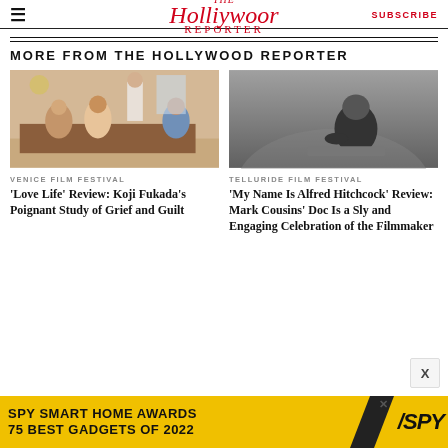The Hollywood Reporter — SUBSCRIBE
MORE FROM THE HOLLYWOOD REPORTER
[Figure (photo): Scene from 'Love Life' film showing people seated around a dining table, one person standing in the background, warm indoor setting]
VENICE FILM FESTIVAL
'Love Life' Review: Koji Fukada's Poignant Study of Grief and Guilt
[Figure (photo): Black and white portrait photo of a heavyset man sitting/crouching, dramatic moody lighting]
TELLURIDE FILM FESTIVAL
'My Name Is Alfred Hitchcock' Review: Mark Cousins' Doc Is a Sly and Engaging Celebration of the Filmmaker
[Figure (infographic): Advertisement banner: SPY SMART HOME AWARDS 75 BEST GADGETS OF 2022, yellow background with SPY logo]